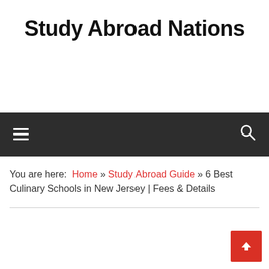Study Abroad Nations
You are here: Home » Study Abroad Guide » 6 Best Culinary Schools in New Jersey | Fees & Details